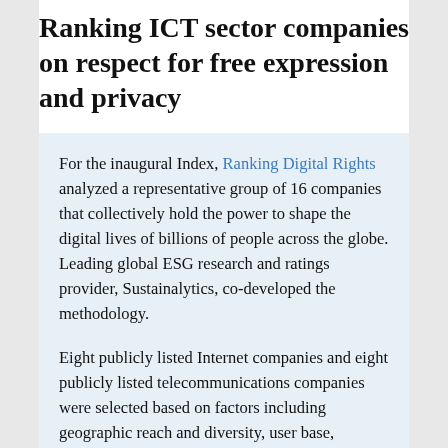Ranking ICT sector companies on respect for free expression and privacy
For the inaugural Index, Ranking Digital Rights analyzed a representative group of 16 companies that collectively hold the power to shape the digital lives of billions of people across the globe. Leading global ESG research and ratings provider, Sustainalytics, co-developed the methodology.
Eight publicly listed Internet companies and eight publicly listed telecommunications companies were selected based on factors including geographic reach and diversity, user base, company size, and market share. These companies were assessed on 31 indicators across three categories – commitment, freedom of expression, and privacy – drawn